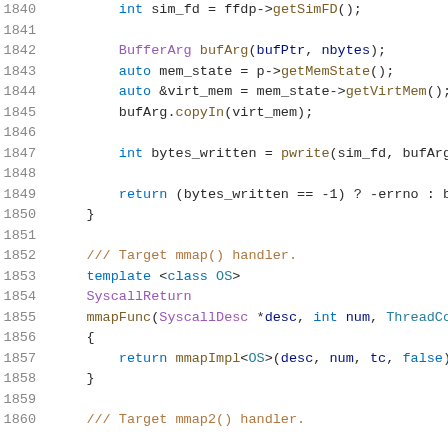Source code listing, lines 1840-1860, C++ syscall handler implementation including pwrite and mmap functions.